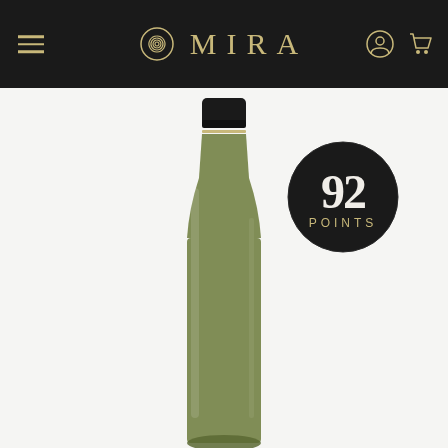MIRA
[Figure (photo): Wine bottle (white/green glass) with black capsule top, showing neck and upper body of bottle against light gray background. A dark circular badge with '92 POINTS' is overlaid to the right of the bottle neck.]